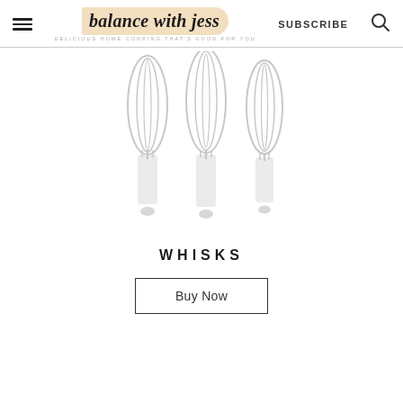balance with jess — SUBSCRIBE
[Figure (photo): Three whisks shown side by side — the wire whisk heads are visible at the top and the handles/grips are visible in the lower portion of the image. The image has a faded, light appearance.]
WHISKS
Buy Now